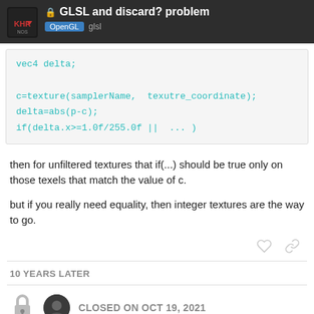🔒 GLSL and discard? problem
OpenGL  glsl
[Figure (screenshot): Code block showing GLSL snippet: vec4 delta; c=texture(samplerName, texutre_coordinate); delta=abs(p-c); if(delta.x>=1.0f/255.0f || ... )]
then for unfiltered textures that if(...) should be true only on those texels that match the value of c.
but if you really need equality, then integer textures are the way to go.
10 YEARS LATER
CLOSED ON OCT 19, 2021